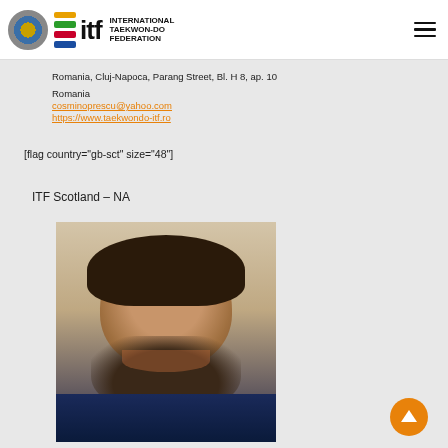International Taekwon-Do Federation
Romania, Cluj-Napoca, Parang Street, Bl. H 8, ap. 10
Romania
cosminoprescu@yahoo.com
https://www.taekwondo-itf.ro
[flag country="gb-sct" size="48"]
ITF Scotland – NA
[Figure (photo): Portrait photo of a man with dark hair and beard, wearing a dark suit, smiling]